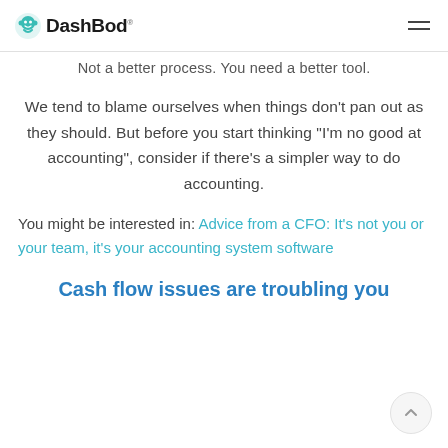DashBod
Not a better process. You need a better tool.
We tend to blame ourselves when things don't pan out as they should. But before you start thinking "I'm no good at accounting", consider if there's a simpler way to do accounting.
You might be interested in: Advice from a CFO: It's not you or your team, it's your accounting system software
Cash flow issues are troubling you